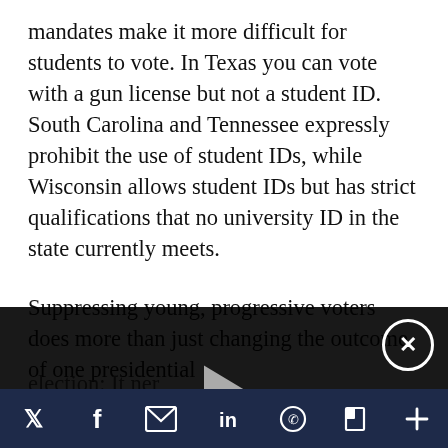mandates make it more difficult for students to vote. In Texas you can vote with a gun license but not a student ID. South Carolina and Tennessee expressly prohibit the use of student IDs, while Wisconsin allows student IDs but has strict qualifications that no university ID in the state currently meets.
Suppressing young, progressive voters does more than just changing the outcome of one presidential election: It ... voices from ... for years to ... issues back ...
[Figure (other): Embedded video player overlay with play button, mute icon, close (X) button, and progress bar. The video player covers the lower portion of the article text.]
[Figure (other): Social sharing toolbar at the bottom with icons for Twitter, Facebook, Email, LinkedIn, WhatsApp, Flipboard, and a plus button.]